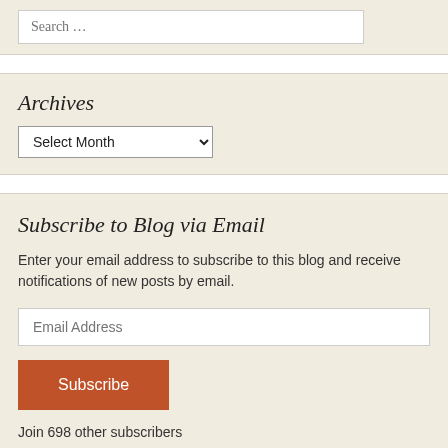Search …
Archives
Select Month
Subscribe to Blog via Email
Enter your email address to subscribe to this blog and receive notifications of new posts by email.
Email Address
Subscribe
Join 698 other subscribers